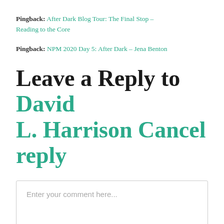Pingback: After Dark Blog Tour: The Final Stop – Reading to the Core
Pingback: NPM 2020 Day 5: After Dark – Jena Benton
Leave a Reply to David L. Harrison Cancel reply
Enter your comment here...